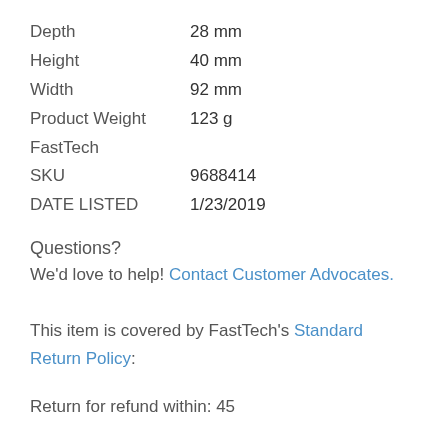| Property | Value |
| --- | --- |
| Depth | 28 mm |
| Height | 40 mm |
| Width | 92 mm |
| Product Weight | 123 g |
| FastTech |  |
| SKU | 9688414 |
| DATE LISTED | 1/23/2019 |
Questions?
We'd love to help! Contact Customer Advocates.
This item is covered by FastTech's Standard Return Policy:
Return for refund within: 45